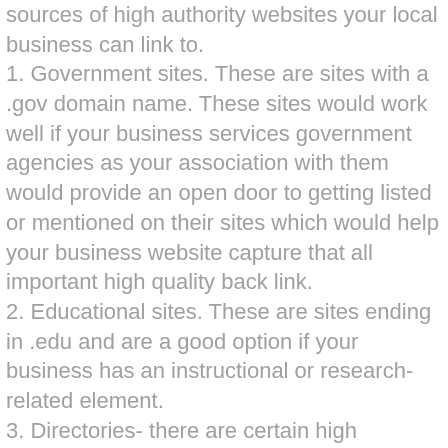sources of high authority websites your local business can link to.
1. Government sites. These are sites with a .gov domain name. These sites would work well if your business services government agencies as your association with them would provide an open door to getting listed or mentioned on their sites which would help your business website capture that all important high quality back link.
2. Educational sites. These are sites ending in .edu and are a good option if your business has an instructional or research-related element.
3. Directories- there are certain high authority directories that can provide quality backlinks. The Yahoo directory costs about $300 per year to